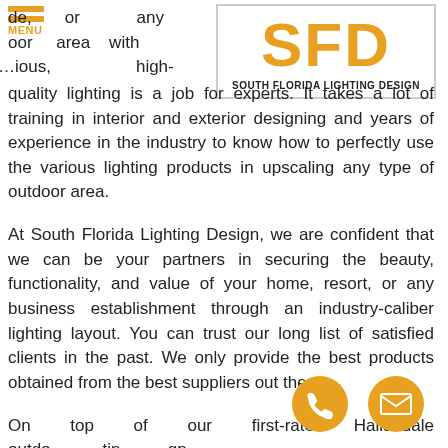MENU
[Figure (logo): South Florida Lighting Design logo with large bold orange SFD letters above the company name in black]
de, or any oor area with ...ious, high-quality lighting is a job for experts. It takes a lot of training in interior and exterior designing and years of experience in the industry to know how to perfectly use the various lighting products in upscaling any type of outdoor area.
At South Florida Lighting Design, we are confident that we can be your partners in securing the beauty, functionality, and value of your home, resort, or any business establishment through an industry-caliber lighting layout. You can trust our long list of satisfied clients in the past. We only provide the best products obtained from the best suppliers out there.
On top of our first-rate Hallandale outdoor lighting design products, what we pride ourselves on is our stellar